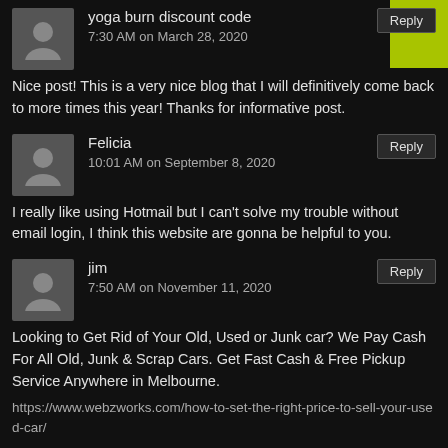yoga burn discount code
7:30 AM on March 28, 2020
Nice post! This is a very nice blog that I will definitively come back to more times this year! Thanks for informative post.
Felicia
10:01 AM on September 8, 2020
I really like using Hotmail but I can't solve my trouble without email login, I think this website are gonna be helpful to you.
jim
7:50 AM on November 11, 2020
Looking to Get Rid of Your Old, Used or Junk car? We Pay Cash For All Old, Junk & Scrap Cars. Get Fast Cash & Free Pickup Service Anywhere in Melbourne.
https://www.webzworks.com/how-to-set-the-right-price-to-sell-your-used-car/
jack
10:35 AM on November 17, 2020
We Provide the best private Security Services in Orange County,